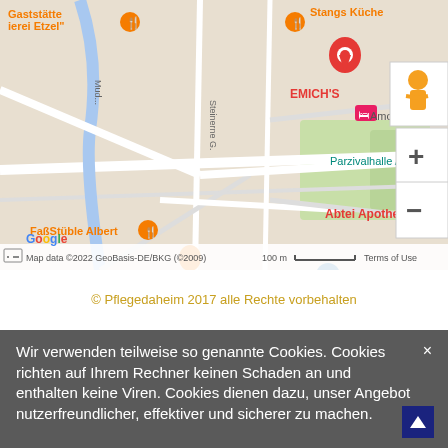[Figure (map): Google Map screenshot showing Amorbach area with markers for EMICH'S, Abtei Amorbach, Abtei Apotheke, FaßStüble Albert, Stangs Küche, Gaststätte Brauerei Etzel, Parzivalhalle Amorbach, Amorbach Rathaus. Map data ©2022 GeoBasis-DE/BKG (©2009), 100m scale bar, Terms of Use.]
© Pflegedaheim 2017 alle Rechte vorbehalten
Wir verwenden teilweise so genannte Cookies. Cookies richten auf Ihrem Rechner keinen Schaden an und enthalten keine Viren. Cookies dienen dazu, unser Angebot nutzerfreundlicher, effektiver und sicherer zu machen.